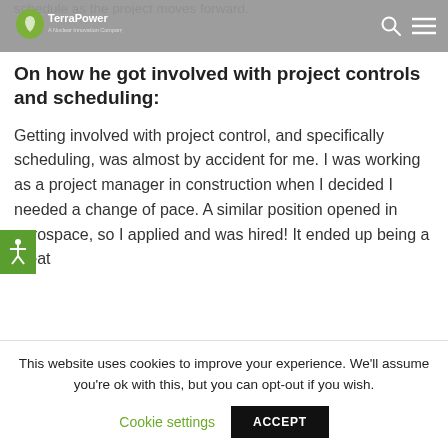schedule as the project moves forward.
[Figure (logo): TerraPower logo — green leaf mark with 'TerraPower' text and tagline beneath]
On how he got involved with project controls and scheduling:
Getting involved with project control, and specifically scheduling, was almost by accident for me. I was working as a project manager in construction when I decided I needed a change of pace. A similar position opened in aerospace, so I applied and was hired! It ended up being a great [continues below]
This website uses cookies to improve your experience. We'll assume you're ok with this, but you can opt-out if you wish.
Cookie settings   ACCEPT